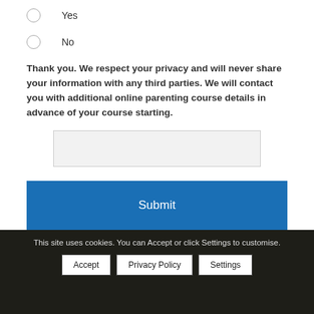Yes
No
Thank you. We respect your privacy and will never share your information with any third parties. We will contact you with additional online parenting course details in advance of your course starting.
Submit
This site uses cookies. You can Accept or click Settings to customise.
Accept
Privacy Policy
Settings
FOLLOW US